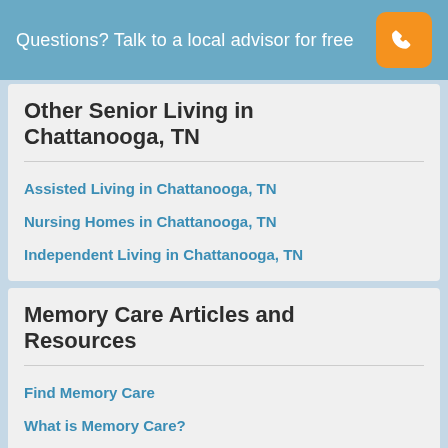Questions? Talk to a local advisor for free
Other Senior Living in Chattanooga, TN
Assisted Living in Chattanooga, TN
Nursing Homes in Chattanooga, TN
Independent Living in Chattanooga, TN
Memory Care Articles and Resources
Find Memory Care
What is Memory Care?